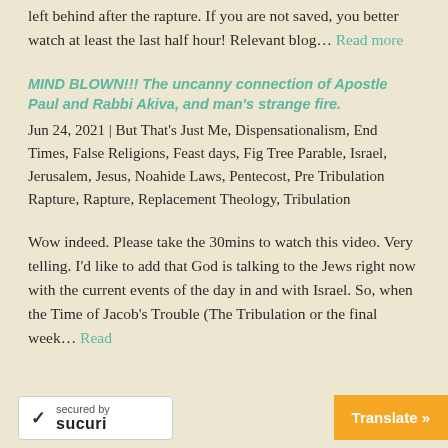left behind after the rapture. If you are not saved, you better watch at least the last half hour! Relevant blog… Read more
MIND BLOWN!!! The uncanny connection of Apostle Paul and Rabbi Akiva, and man's strange fire.
Jun 24, 2021 | But That's Just Me, Dispensationalism, End Times, False Religions, Feast days, Fig Tree Parable, Israel, Jerusalem, Jesus, Noahide Laws, Pentecost, Pre Tribulation Rapture, Rapture, Replacement Theology, Tribulation
Wow indeed. Please take the 30mins to watch this video. Very telling. I'd like to add that God is talking to the Jews right now with the current events of the day in and with Israel. So, when the Time of Jacob's Trouble (The Tribulation or the final week… Read
[Figure (logo): Sucuri security badge with checkmark and 'secured by Sucuri' text]
Translate »